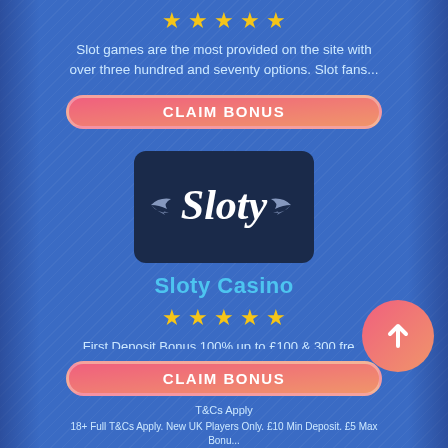[Figure (other): Five yellow star rating icons]
Slot games are the most provided on the site with over three hundred and seventy options. Slot fans...
[Figure (other): CLAIM BONUS button with pink-to-orange gradient]
[Figure (logo): Sloty Casino logo: dark navy blue square with Sloty in white italic script and wing decorations]
Sloty Casino
[Figure (other): Five yellow star rating icons]
First Deposit Bonus 100% up to £100 & 300 fre...
[Figure (other): CLAIM BONUS button with pink-to-orange gradient]
T&Cs Apply
18+ Full T&Cs Apply. New UK Players Only. £10 Min Deposit. £5 Max Bonus...